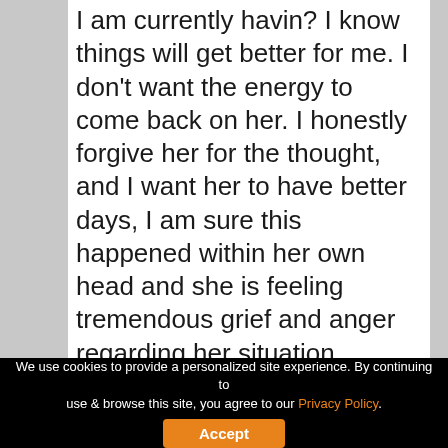I am currently havin? I know things will get better for me. I don't want the energy to come back on her. I honestly forgive her for the thought, and I want her to have better days, I am sure this happened within her own head and she is feeling tremendous grief and anger regarding her situation.
I myself, I pray about these things and I believe I will be fine, but could I
We use cookies to provide a personalized site experience. By continuing to use & browse this site, you agree to our Privacy Policy. Accept